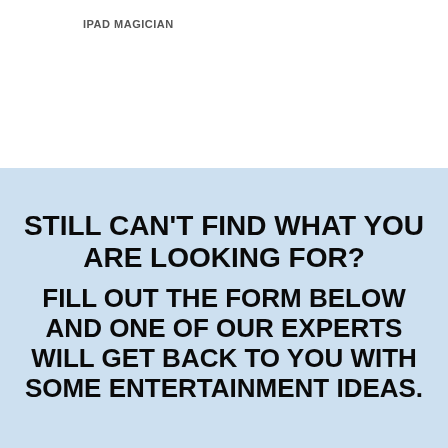IPAD MAGICIAN
STILL CAN'T FIND WHAT YOU ARE LOOKING FOR?

FILL OUT THE FORM BELOW AND ONE OF OUR EXPERTS WILL GET BACK TO YOU WITH SOME ENTERTAINMENT IDEAS.